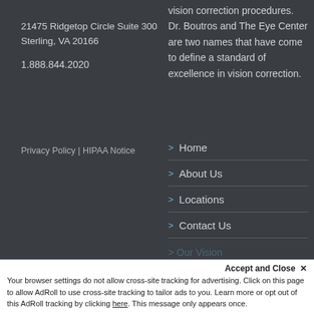21475 Ridgetop Circle Suite 300
Sterling, VA 20166

1.888.844.2020
vision correction procedures. Dr. Boutros and The Eye Center are two names that have come to define a standard of excellence in vision correction.
Privacy Policy | HIPAA Notice
> Home
> About Us
> Locations
> Contact Us
Accept and Close ✕
Your browser settings do not allow cross-site tracking for advertising. Click on this page to allow AdRoll to use cross-site tracking to tailor ads to you. Learn more or opt out of this AdRoll tracking by clicking here. This message only appears once.